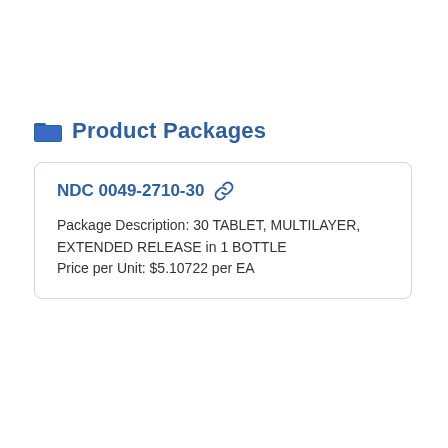Product Packages
NDC 0049-2710-30
Package Description: 30 TABLET, MULTILAYER, EXTENDED RELEASE in 1 BOTTLE
Price per Unit: $5.10722 per EA